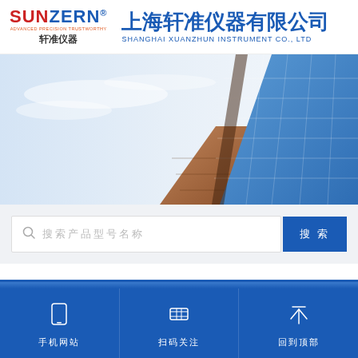[Figure (logo): SUNZERN logo with Chinese text 轩准仪器 and company name 上海轩准仪器有限公司 SHANGHAI XUANZHUN INSTRUMENT CO., LTD]
[Figure (photo): Hero image of modern glass skyscraper building with blue sky background]
搜索产品型号名称 (search bar placeholder)
搜 索 (search button)
热门产品
更 多
手机网站
扫码关注
回到顶部